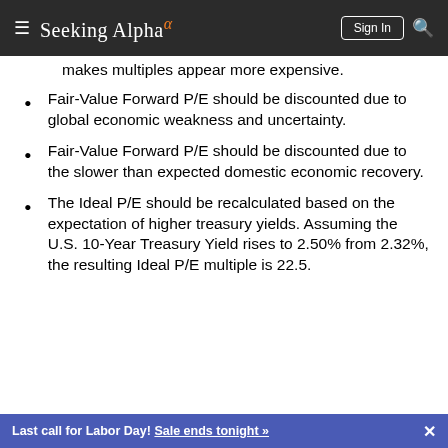Seeking Alpha — Sign In
makes multiples appear more expensive.
Fair-Value Forward P/E should be discounted due to global economic weakness and uncertainty.
Fair-Value Forward P/E should be discounted due to the slower than expected domestic economic recovery.
The Ideal P/E should be recalculated based on the expectation of higher treasury yields. Assuming the U.S. 10-Year Treasury Yield rises to 2.50% from 2.32%, the resulting Ideal P/E multiple is 22.5.
Last call for Labor Day! Sale ends tonight »